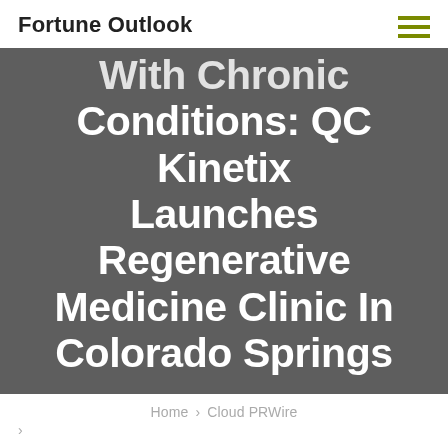Fortune Outlook
With Chronic Conditions: QC Kinetix Launches Regenerative Medicine Clinic In Colorado Springs
Home › Cloud PRWire
>
CLOUD PRWIRE
New Hope for Patients with Chronic Conditions: